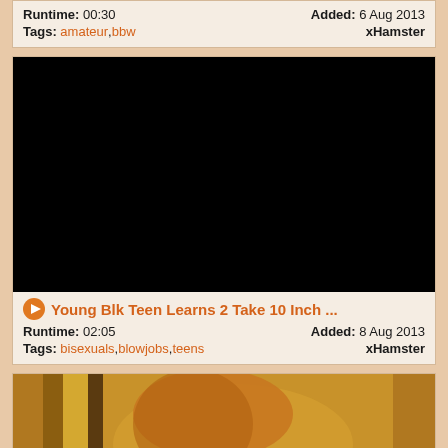Runtime: 00:30   Added: 6 Aug 2013
Tags: amateur , bbw   xHamster
[Figure (photo): Black/blank video thumbnail]
Young Blk Teen Learns 2 Take 10 Inch ...
Runtime: 02:05   Added: 8 Aug 2013
Tags: bisexuals , blowjobs , teens   xHamster
[Figure (photo): Partial thumbnail showing a person with blonde hair against a colorful background]